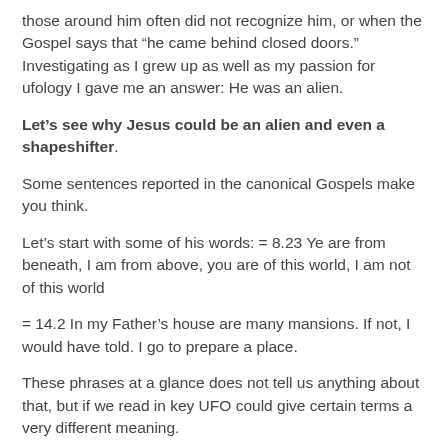those around him often did not recognize him, or when the Gospel says that “he came behind closed doors.” Investigating as I grew up as well as my passion for ufology I gave me an answer: He was an alien.
Let’s see why Jesus could be an alien and even a shapeshifter.
Some sentences reported in the canonical Gospels make you think.
Let’s start with some of his words: = 8.23 Ye are from beneath, I am from above, you are of this world, I am not of this world
= 14.2 In my Father’s house are many mansions. If not, I would have told. I go to prepare a place.
These phrases at a glance does not tell us anything about that, but if we read in key UFO could give certain terms a very different meaning.